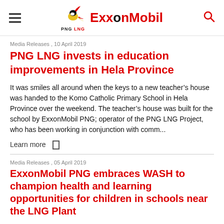PNG LNG ExxonMobil [logo header]
Media Releases , 10 April 2019
PNG LNG invests in education improvements in Hela Province
It was smiles all around when the keys to a new teacher’s house was handed to the Komo Catholic Primary School in Hela Province over the weekend. The teacher’s house was built for the school by ExxonMobil PNG; operator of the PNG LNG Project, who has been working in conjunction with comm...
Learn more □
Media Releases , 05 April 2019
ExxonMobil PNG embraces WASH to champion health and learning opportunities for children in schools near the LNG Plant
In recognising the importance of Water, Sanitation and Hygiene